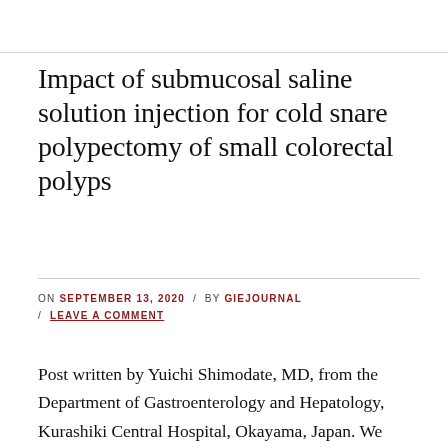Impact of submucosal saline solution injection for cold snare polypectomy of small colorectal polyps
ON SEPTEMBER 13, 2020 / BY GIEJOURNAL / LEAVE A COMMENT
Post written by Yuichi Shimodate, MD, from the Department of Gastroenterology and Hepatology, Kurashiki Central Hospital, Okayama, Japan. We compared the complete resection, which was defined if